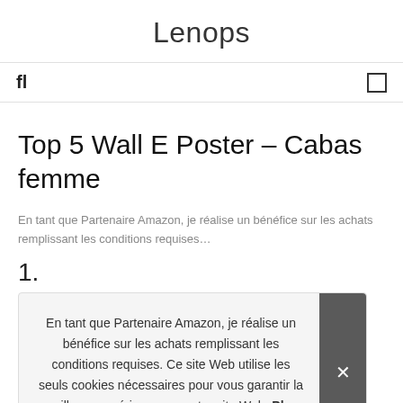Lenops
🔍 ☰
Top 5 Wall E Poster – Cabas femme
En tant que Partenaire Amazon, je réalise un bénéfice sur les achats rempl…
1.
En tant que Partenaire Amazon, je réalise un bénéfice sur les achats remplissant les conditions requises. Ce site Web utilise les seuls cookies nécessaires pour vous garantir la meilleure expérience sur notre site Web. Plus d'information
[Figure (screenshot): Product image placeholder (partially visible at bottom)]